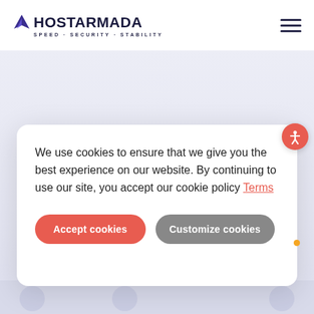[Figure (logo): HostArmada logo with mountain/arrow icon and tagline SPEED · SECURITY · STABILITY]
[Figure (illustration): Hamburger menu icon (three horizontal lines) in top right of header]
We use cookies to ensure that we give you the best experience on our website. By continuing to use our site, you accept our cookie policy Terms
[Figure (other): Accept cookies and Customize cookies buttons in a cookie consent modal dialog]
[Figure (illustration): Accessibility icon (person with circle) in coral/red circle, top right of modal]